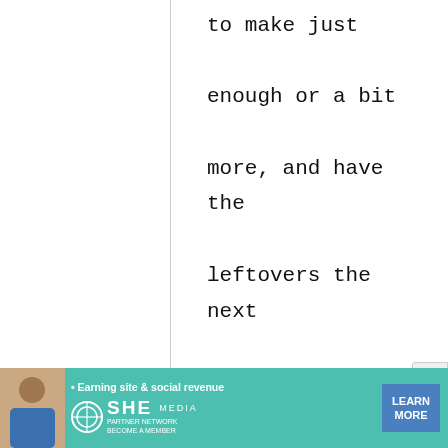to make just enough or a bit more, and have the leftovers the next day.
Eigo_Haimaru
26 July, 2009 - 04:23
permalink
Re: Basics: Cold soba noodles with dipping sauce
[Figure (infographic): Advertisement banner for SHE Media Partner Network with tagline 'Earning site & social revenue' and 'LEARN MORE' button]